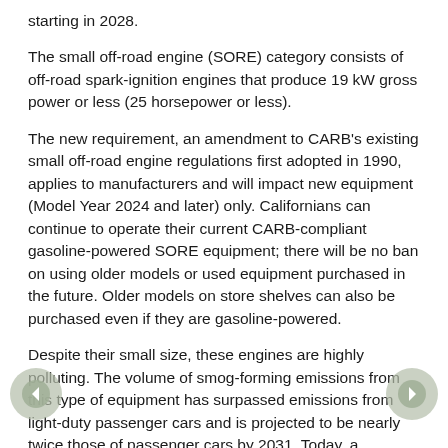starting in 2028.
The small off-road engine (SORE) category consists of off-road spark-ignition engines that produce 19 kW gross power or less (25 horsepower or less).
The new requirement, an amendment to CARB's existing small off-road engine regulations first adopted in 1990, applies to manufacturers and will impact new equipment (Model Year 2024 and later) only. Californians can continue to operate their current CARB-compliant gasoline-powered SORE equipment; there will be no ban on using older models or used equipment purchased in the future. Older models on store shelves can also be purchased even if they are gasoline-powered.
Despite their small size, these engines are highly polluting. The volume of smog-forming emissions from this type of equipment has surpassed emissions from light-duty passenger cars and is projected to be nearly twice those of passenger cars by 2031. Today, a commercial operator